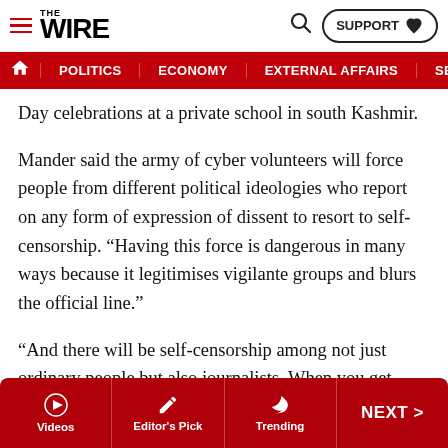THE WIRE — navigation header with POLITICS, ECONOMY, EXTERNAL AFFAIRS, SECU[RITY]
Day celebrations at a private school in south Kashmir.
Mander said the army of cyber volunteers will force people from different political ideologies who report on any form of expression of dissent to resort to self-censorship. "Having this force is dangerous in many ways because it legitimises vigilante groups and blurs the official line."
“And there will be self-censorship among not just ordinary people but also journalists. When you get local people to be informers, they get official status and recognition which makes them ‘powerful’,” he said.
Senior Superintendent of Police Tahir Ashraf, who heads
Videos | Editor's Pick | Trending | NEXT >